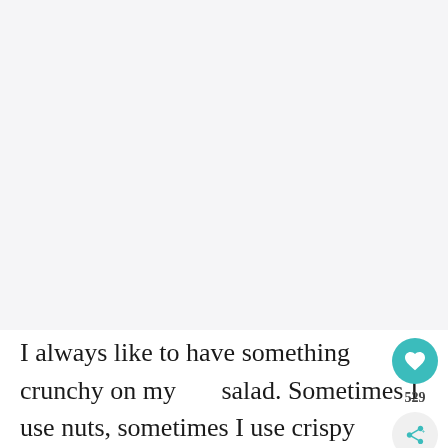[Figure (photo): Large image area (appears blank/white in this view), occupying the top portion of the page]
I always like to have something crunchy on my salad. Sometimes I use nuts, sometimes I use crispy tortilla strips, but more often than not, I … croutons.